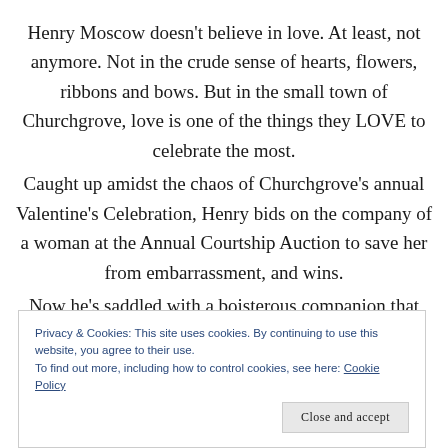Henry Moscow doesn't believe in love. At least, not anymore. Not in the crude sense of hearts, flowers, ribbons and bows. But in the small town of Churchgrove, love is one of the things they LOVE to celebrate the most.
Caught up amidst the chaos of Churchgrove's annual Valentine's Celebration, Henry bids on the company of a woman at the Annual Courtship Auction to save her from embarrassment, and wins.
Now he's saddled with a boisterous companion that
Privacy & Cookies: This site uses cookies. By continuing to use this website, you agree to their use.
To find out more, including how to control cookies, see here: Cookie Policy